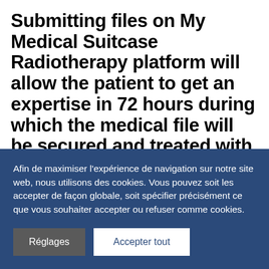Submitting files on My Medical Suitcase Radiotherapy platform will allow the patient to get an expertise in 72 hours during which the medical file will be secured and treated with a strict confidential process.
He will benefit from the most appropriate radiotherapy technic according to his
Afin de maximiser l'expérience de navigation sur notre site web, nous utilisons des cookies. Vous pouvez soit les accepter de façon globale, soit spécifier précisément ce que vous souhaiter accepter ou refuser comme cookies.